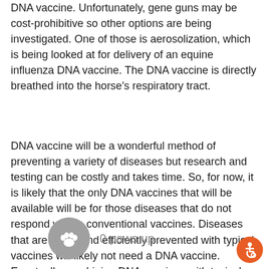DNA vaccine. Unfortunately, gene guns may be cost-prohibitive so other options are being investigated. One of those is aerosolization, which is being looked at for delivery of an equine influenza DNA vaccine. The DNA vaccine is directly breathed into the horse's respiratory tract.
DNA vaccine will be a wonderful method of preventing a variety of diseases but research and testing can be costly and takes time. So, for now, it is likely that the only DNA vaccines that will be available will be for those diseases that do not respond well to conventional vaccines. Diseases that are easily and efficiently prevented with typical vaccines will likely not need a DNA vaccine. Eventually, combining DNA vaccines with typical vaccines may be the future of disease prevention.
[Figure (illustration): A grey circle with a white paw print icon, followed by the text '0 paws up' in grey, and an orange accessibility icon in the bottom right corner.]